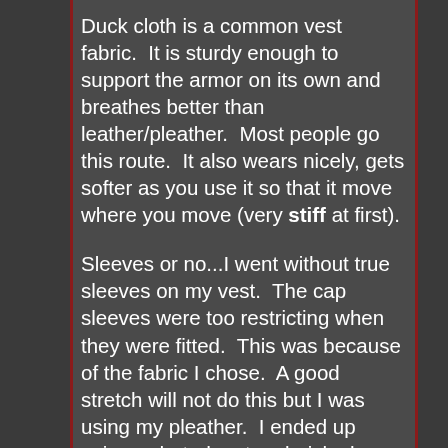Duck cloth is a common vest fabric.  It is sturdy enough to support the armor on its own and breathes better than leather/pleather.  Most people go this route.  It also wears nicely, gets softer as you use it so that it move where you move (very stiff at first).
Sleeves or no...I went without true sleeves on my vest.  The cap sleeves were too restricting when they were fitted.  This was because of the fabric I chose.  A good stretch will not do this but I was using my pleather.  I ended up using a darted rectangle-ish shape to secure my shoulders.  Again fabric and what type of shoulder your using will affect this.
Velcro is good when not visible.  Most use sew on velcro, stays on better and can be removed and replaced when worn out.  I personally hate the sound of velcro opening and closing and the constant 'crunchy' noise that it can make.  So I only have two places that have velco that I have